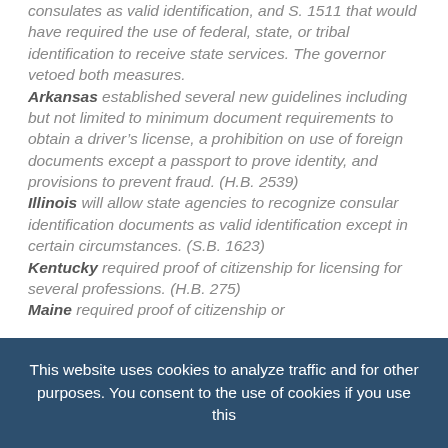consulates as valid identification, and S. 1511 that would have required the use of federal, state, or tribal identification to receive state services. The governor vetoed both measures. Arkansas established several new guidelines including but not limited to minimum document requirements to obtain a driver's license, a prohibition on use of foreign documents except a passport to prove identity, and provisions to prevent fraud. (H.B. 2539) Illinois will allow state agencies to recognize consular identification documents as valid identification except in certain circumstances. (S.B. 1623) Kentucky required proof of citizenship for licensing for several professions. (H.B. 275) Maine required proof of citizenship or
This website uses cookies to analyze traffic and for other purposes. You consent to the use of cookies if you use this